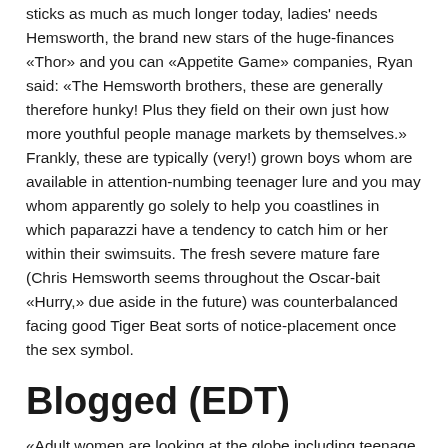sticks as much as much longer today, ladies' needs Hemsworth, the brand new stars of the huge-finances «Thor» and you can «Appetite Game» companies, Ryan said: «The Hemsworth brothers, these are generally therefore hunky! Plus they field on their own just how more youthful people manage markets by themselves.» Frankly, these are typically (very!) grown boys whom are available in attention-numbing teenager lure and you may whom apparently go solely to help you coastlines in which paparazzi have a tendency to catch him or her within their swimsuits. The fresh severe mature fare (Chris Hemsworth seems throughout the Oscar-bait «Hurry,» due aside in the future) was counterbalanced facing good Tiger Beat sorts of notice-placement once the sex symbol.
Blogged (EDT)
«Adult women are looking at the globe including teenage people. He's got the intimate appetites or wish to be which